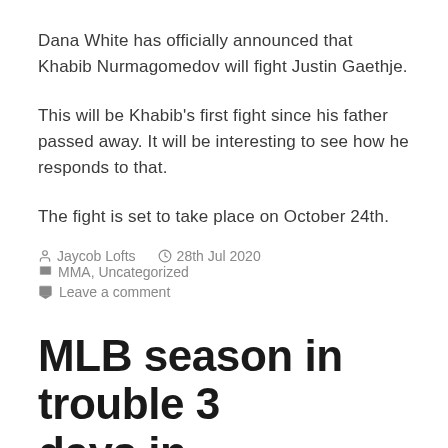Dana White has officially announced that Khabib Nurmagomedov will fight Justin Gaethje.
This will be Khabib's first fight since his father passed away. It will be interesting to see how he responds to that.
The fight is set to take place on October 24th.
Jaycob Lofts  28th Jul 2020  MMA, Uncategorized  Leave a comment
MLB season in trouble 3 days in